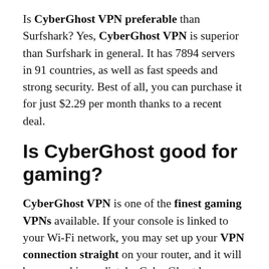Is CyberGhost VPN preferable than Surfshark? Yes, CyberGhost VPN is superior than Surfshark in general. It has 7894 servers in 91 countries, as well as fast speeds and strong security. Best of all, you can purchase it for just $2.29 per month thanks to a recent deal.
Is CyberGhost good for gaming?
CyberGhost VPN is one of the finest gaming VPNs available. If your console is linked to your Wi-Fi network, you may set up your VPN connection straight on your router, and it will be secured immediately. CyberGhost has approximately 6200 servers in more than 90